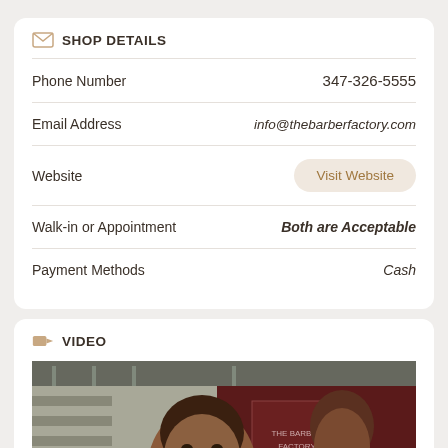SHOP DETAILS
| Label | Value |
| --- | --- |
| Phone Number | 347-326-5555 |
| Email Address | info@thebarberfactory.com |
| Website | Visit Website |
| Walk-in or Appointment | Both are Acceptable |
| Payment Methods | Cash |
VIDEO
[Figure (photo): A barber cutting a client's hair in a barbershop setting. The client is seated and the barber is working on his hair. Both are wearing dark maroon/burgundy shirts. The barbershop interior is visible in the background.]